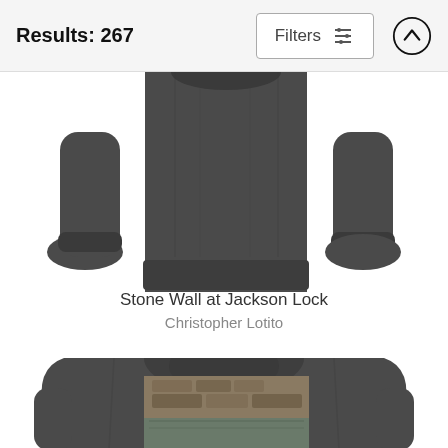Results: 267
[Figure (photo): Dark gray sweatshirt shown in flat lay: left sleeve, front body, right sleeve partially visible, cropped at top]
Stone Wall at Jackson Lock
Christopher Lotito
[Figure (photo): Dark gray hoodie with photo print on back, shown from behind, cropped at bottom]